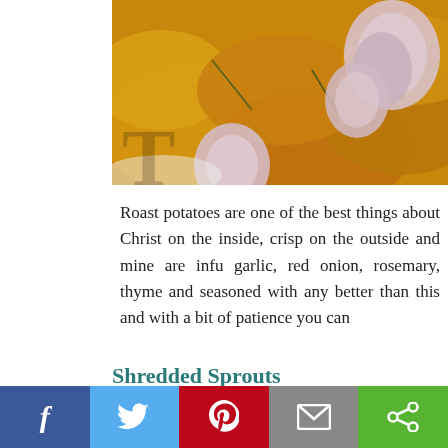[Figure (photo): Roasted potatoes with garlic cloves and rosemary herbs, golden brown, on a white plate, partially cropped]
Roast potatoes are one of the best things about Christ... on the inside, crisp on the outside and mine are infu... garlic, red onion, rosemary, thyme and seasoned with... any better than this and with a bit of patience you can...
Shredded Sprouts
[Figure (photo): Shredded sprouts dish, partially visible, light background]
Social share bar with Facebook, Twitter, Pinterest, Email, and Share buttons